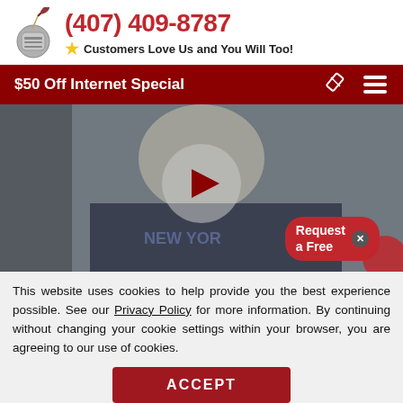[Figure (logo): Knight helmet with quill pen logo]
(407) 409-8787
Customers Love Us and You Will Too!
$50 Off Internet Special
[Figure (screenshot): Video thumbnail showing person in New York shirt with play button overlay and Request a Free badge]
This website uses cookies to help provide you the best experience possible. See our Privacy Policy for more information. By continuing without changing your cookie settings within your browser, you are agreeing to our use of cookies.